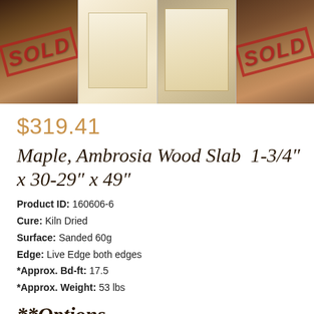[Figure (photo): Four photos of wood slabs arranged in a grid. The first and fourth photos have red 'SOLD' stamps overlaid. The second and third show pale/light-colored maple ambrosia wood slabs on an outdoor surface.]
$319.41
Maple, Ambrosia Wood Slab  1-3/4″ x 30-29″ x 49″
Product ID: 160606-6
Cure: Kiln Dried
Surface: Sanded 60g
Edge: Live Edge both edges
*Approx. Bd-ft: 17.5
*Approx. Weight: 53 lbs
**Options